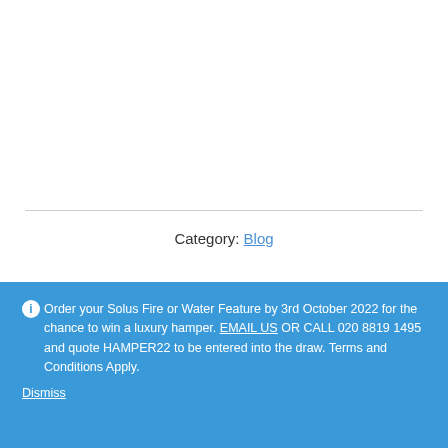Category: Blog
Order your Solus Fire or Water Feature by 3rd October 2022 for the chance to win a luxury hamper. EMAIL US OR CALL 020 8819 1495 and quote HAMPER22 to be entered into the draw. Terms and Conditions Apply. Dismiss